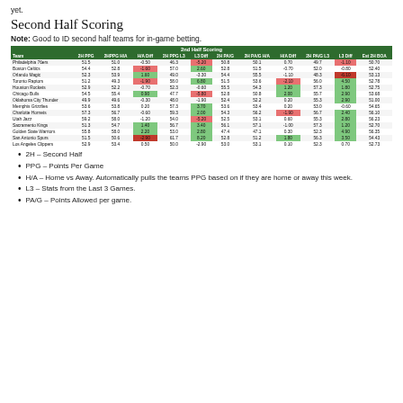yet.
Second Half Scoring
Note: Good to ID second half teams for in-game betting.
| Team | 2H PPG | 2HPPG H/A | H/A Diff | 2H PPG L3 | L3 Diff | 2H PA/G | 2H PA/G H/A | H/A Diff | 2H PA/G L3 | L3 Diff | Est 2H BOA |
| --- | --- | --- | --- | --- | --- | --- | --- | --- | --- | --- | --- |
| Philadelphia 76ers | 51.5 | 51.0 | -0.50 | 46.3 | -5.20 | 50.8 | 50.1 | 0.70 | 49.7 | -1.10 | 50.70 |
| Boston Celtics | 54.4 | 52.8 | -1.60 | 57.0 | 2.60 | 52.8 | 51.5 | -0.70 | 52.0 | -0.80 | 52.40 |
| Orlando Magic | 52.3 | 53.9 | 1.60 | 49.0 | -3.30 | 54.4 | 55.5 | -1.10 | 48.3 | -6.10 | 53.13 |
| Toronto Raptors | 51.2 | 49.3 | -1.90 | 58.0 | 6.80 | 51.5 | 53.6 | -2.10 | 56.0 | 4.50 | 52.78 |
| Houston Rockets | 52.9 | 52.2 | -0.70 | 52.3 | -0.60 | 55.5 | 54.3 | 1.20 | 57.3 | 1.80 | 52.75 |
| Chicago Bulls | 54.5 | 55.4 | 0.90 | 47.7 | -5.80 | 52.8 | 50.8 | 2.00 | 55.7 | 2.90 | 53.68 |
| Oklahoma City Thunder | 49.9 | 49.6 | -0.30 | 48.0 | -1.90 | 52.4 | 52.2 | 0.20 | 55.3 | 2.90 | 51.00 |
| Memphis Grizzlies | 53.6 | 53.8 | 0.20 | 57.3 | 3.70 | 53.6 | 53.4 | 0.20 | 53.0 | -0.60 | 54.65 |
| Charlotte Hornets | 57.3 | 56.7 | -0.60 | 59.3 | 2.00 | 54.3 | 56.2 | -1.90 | 56.7 | 2.40 | 56.10 |
| Utah Jazz | 59.2 | 58.0 | -1.20 | 54.0 | -5.20 | 52.5 | 53.1 | 0.60 | 55.3 | 2.80 | 56.23 |
| Sacramento Kings | 51.3 | 54.7 | 1.40 | 56.7 | 3.40 | 56.1 | 57.1 | -1.00 | 57.3 | 1.20 | 52.70 |
| Golden State Warriors | 55.8 | 58.0 | 2.20 | 53.0 | 2.80 | 47.4 | 47.1 | 0.30 | 52.3 | 4.90 | 56.35 |
| San Antonio Spurs | 51.5 | 50.6 | -2.90 | 61.7 | 8.20 | 52.8 | 51.2 | 1.80 | 56.3 | 3.50 | 54.43 |
| Los Angeles Clippers | 52.9 | 53.4 | 0.50 | 50.0 | -2.90 | 53.0 | 53.1 | 0.10 | 52.3 | 0.70 | 52.73 |
2H – Second Half
PPG – Points Per Game
H/A – Home vs Away. Automatically pulls the teams PPG based on if they are home or away this week.
L3 – Stats from the Last 3 Games.
PA/G – Points Allowed per game.